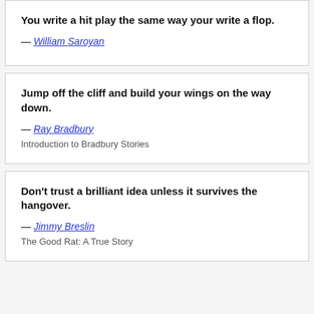You write a hit play the same way your write a flop.
— William Saroyan
Jump off the cliff and build your wings on the way down.
— Ray Bradbury
Introduction to Bradbury Stories
Don't trust a brilliant idea unless it survives the hangover.
— Jimmy Breslin
The Good Rat: A True Story